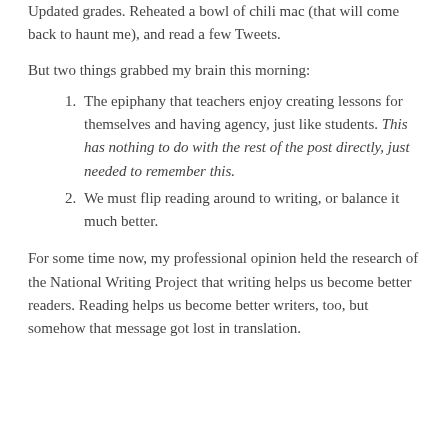Updated grades. Reheated a bowl of chili mac (that will come back to haunt me), and read a few Tweets.
But two things grabbed my brain this morning:
The epiphany that teachers enjoy creating lessons for themselves and having agency, just like students. This has nothing to do with the rest of the post directly, just needed to remember this.
We must flip reading around to writing, or balance it much better.
For some time now, my professional opinion held the research of the National Writing Project that writing helps us become better readers. Reading helps us become better writers, too, but somehow that message got lost in translation.